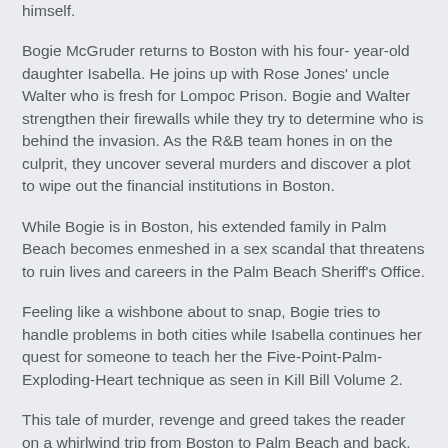himself.
Bogie McGruder returns to Boston with his four- year-old daughter Isabella. He joins up with Rose Jones' uncle Walter who is fresh for Lompoc Prison. Bogie and Walter strengthen their firewalls while they try to determine who is behind the invasion. As the R&B team hones in on the culprit, they uncover several murders and discover a plot to wipe out the financial institutions in Boston.
While Bogie is in Boston, his extended family in Palm Beach becomes enmeshed in a sex scandal that threatens to ruin lives and careers in the Palm Beach Sheriff's Office.
Feeling like a wishbone about to snap, Bogie tries to handle problems in both cities while Isabella continues her quest for someone to teach her the Five-Point-Palm-Exploding-Heart technique as seen in Kill Bill Volume 2.
This tale of murder, revenge and greed takes the reader on a whirlwind trip from Boston to Palm Beach and back. Buckle your seatbolt!